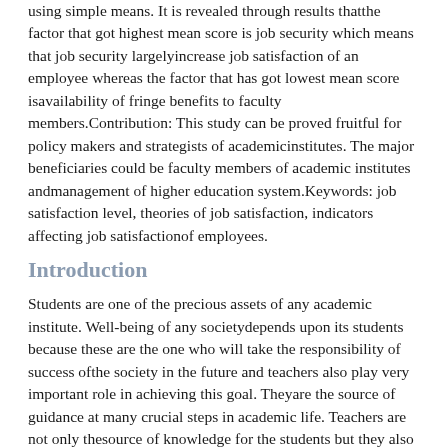using simple means. It is revealed through results that the factor that got highest mean score is job security which means that job security largely increase job satisfaction of an employee whereas the factor that has got lowest mean score is availability of fringe benefits to faculty members. Contribution: This study can be proved fruitful for policy makers and strategists of academic institutes. The major beneficiaries could be faculty members of academic institutes and management of higher education system. Keywords: job satisfaction level, theories of job satisfaction, indicators affecting job satisfaction of employees.
Introduction
Students are one of the precious assets of any academic institute. Well-being of any society depends upon its students because these are the one who will take the responsibility of success of the society in the future and teachers also play very important role in achieving this goal. They are the source of guidance at many crucial steps in academic life. Teachers are not only the source of knowledge for the students but they also provide the